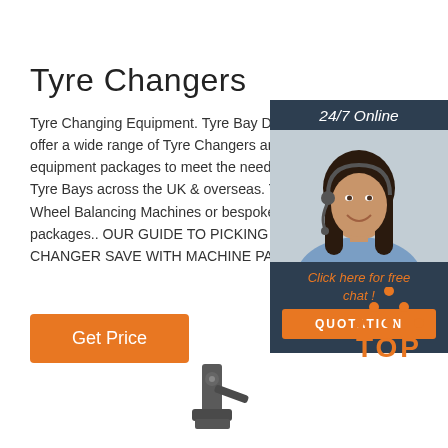Tyre Changers
Tyre Changing Equipment. Tyre Bay Direct a offer a wide range of Tyre Changers and Tyre equipment packages to meet the needs of G Tyre Bays across the UK & overseas. These Wheel Balancing Machines or bespoke comp packages.. OUR GUIDE TO PICKING THE R CHANGER SAVE WITH MACHINE PACKAG
[Figure (photo): Customer service representative woman wearing headset, smiling, with 24/7 Online chat widget overlay showing orange QUOTATION button]
Get Price
[Figure (logo): TOP logo with orange dots arranged in triangle above the letters TOP in orange]
[Figure (photo): Tyre changer machine tool partially visible at bottom of page]